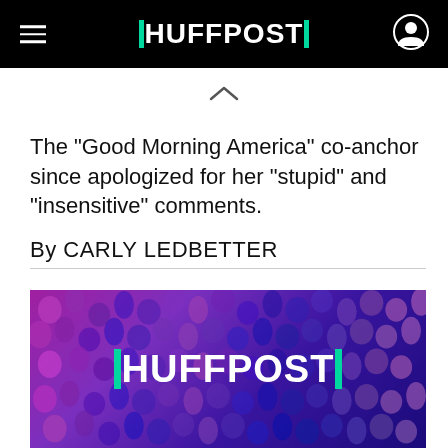HUFFPOST
The "Good Morning America" co-anchor since apologized for her "stupid" and "insensitive" comments.
By CARLY LEDBETTER
[Figure (photo): HuffPost branded image with purple-toned crowd background and white HUFFPOST logo with teal accent bars in center]